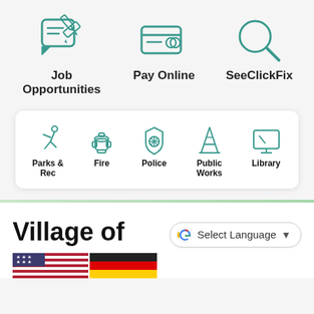[Figure (infographic): Three teal icons: chat/document with pencil, credit card, and magnifying glass]
Job Opportunities
Pay Online
SeeClickFix
[Figure (infographic): Five teal icons in a white card: running figure (Parks & Rec), fire hydrant (Fire), police badge (Police), traffic cone (Public Works), computer monitor (Library)]
Parks & Rec
Fire
Police
Public Works
Library
Village of
[Figure (infographic): Google Translate button and US and German flags]